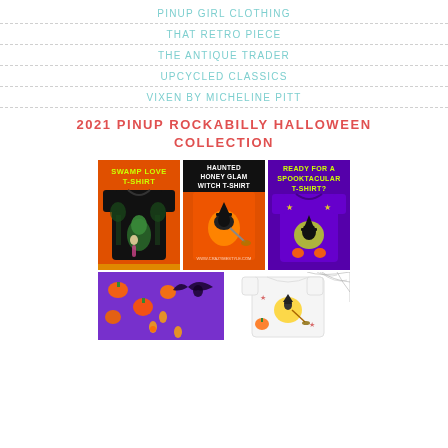PINUP GIRL CLOTHING
THAT RETRO PIECE
THE ANTIQUE TRADER
UPCYCLED CLASSICS
VIXEN BY MICHELINE PITT
2021 PINUP ROCKABILLY HALLOWEEN COLLECTION
[Figure (photo): Three Halloween t-shirt product images side by side: left - black t-shirt with swamp creature on orange background labeled 'SWAMP LOVE T-SHIRT', center - orange t-shirt with witch on orange background labeled 'HAUNTED HONEY GLAM WITCH T-SHIRT', right - purple background t-shirt with witch labeled 'READY FOR A SPOOKTACULAR T-SHIRT?']
[Figure (photo): Partial bottom row of Halloween product images showing pumpkins and candy on purple background (left) and a white t-shirt with Halloween design on right with spider web corner decoration]